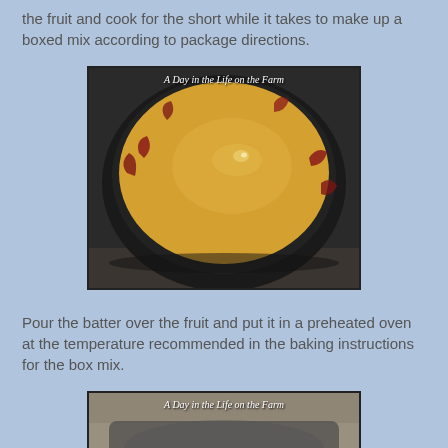the fruit and cook for the short while it takes to make up a boxed mix according to package directions.
[Figure (photo): A round dark cast iron skillet filled with a smooth yellow-orange batter with visible fruit pieces at the edges. Watermark text reads 'A Day in the Life on the Farm'.]
Pour the batter over the fruit and put it in a preheated oven at the temperature recommended in the baking instructions for the box mix.
[Figure (photo): Partial view of a baking dish being placed or held, with watermark text 'A Day in the Life on the Farm'.]